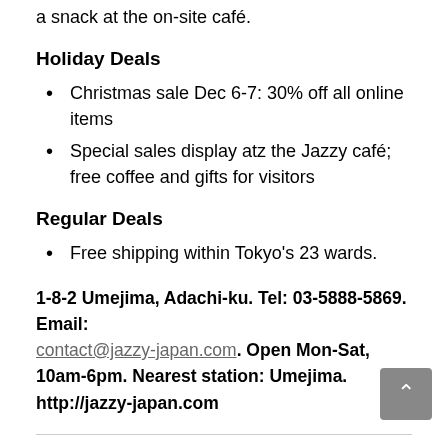a snack at the on-site café.
Holiday Deals
Christmas sale Dec 6-7: 30% off all online items
Special sales display atz the Jazzy café; free coffee and gifts for visitors
Regular Deals
Free shipping within Tokyo's 23 wards.
1-8-2 Umejima, Adachi-ku. Tel: 03-5888-5869. Email: contact@jazzy-japan.com. Open Mon-Sat, 10am-6pm. Nearest station: Umejima. http://jazzy-japan.com
Kamata Hakensha (Kappabashi)